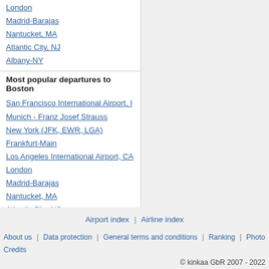London
Madrid-Barajas
Nantucket, MA
Atlantic City, NJ
Albany-NY
Most popular departures to Boston
San Francisco International Airport, ...
Munich - Franz Josef Strauss
New York (JFK, EWR, LGA)
Frankfurt-Main
Los Angeles International Airport, CA...
London
Madrid-Barajas
Nantucket, MA
Atlantic City, NJ
Albany-NY
Airport index | Airline index
About us | Data protection | General terms and conditions | Ranking | Photo Credits
© kinkaa GbR 2007 - 2022